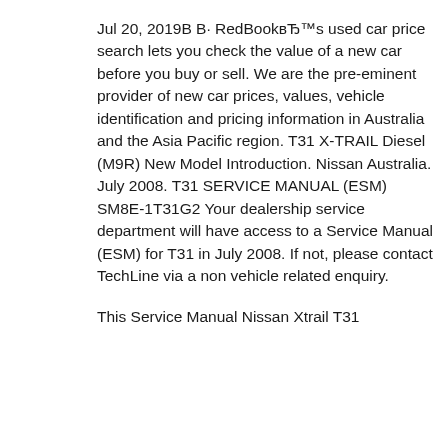Jul 20, 2019В В· RedBookвЂ™s used car price search lets you check the value of a new car before you buy or sell. We are the pre-eminent provider of new car prices, values, vehicle identification and pricing information in Australia and the Asia Pacific region. T31 X-TRAIL Diesel (M9R) New Model Introduction. Nissan Australia. July 2008. T31 SERVICE MANUAL (ESM) SM8E-1T31G2 Your dealership service department will have access to a Service Manual (ESM) for T31 in July 2008. If not, please contact TechLine via a non vehicle related enquiry.
This Service Manual Nissan Xtrail T31